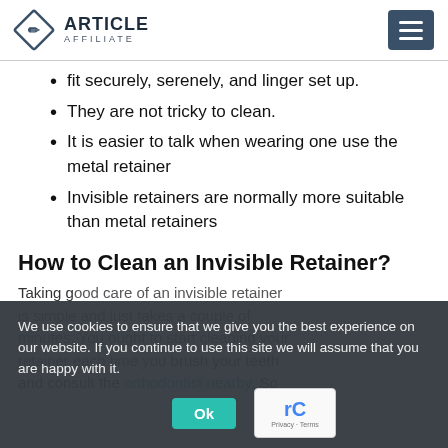ARTICLE AFFILIATE
fit securely, serenely, and linger set up.
They are not tricky to clean.
It is easier to talk when wearing one use the metal retainer
Invisible retainers are normally more suitable than metal retainers
How to Clean an Invisible Retainer?
Taking good care of an invisible retainer is simple and just takes a couple of minutes. You ought to start cleaning your retainer each time you brush your teeth and consult the orthodontist nearby. So
We use cookies to ensure that we give you the best experience on our website. If you continue to use this site we will assume that you are happy with it.